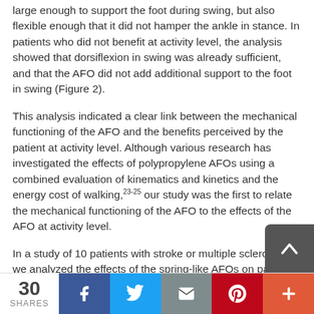large enough to support the foot during swing, but also flexible enough that it did not hamper the ankle in stance. In patients who did not benefit at activity level, the analysis showed that dorsiflexion in swing was already sufficient, and that the AFO did not add additional support to the foot in swing (Figure 2).
This analysis indicated a clear link between the mechanical functioning of the AFO and the benefits perceived by the patient at activity level. Although various research has investigated the effects of polypropylene AFOs using a combined evaluation of kinematics and kinetics and the energy cost of walking,23-25 our study was the first to relate the mechanical functioning of the AFO to the effects of the AFO at activity level.
In a study of 10 patients with stroke or multiple sclerosis18 we analyzed the effects of the spring-like AFOs on patients with reduced ankle push-off. Prior to the study, we expected the spring-like AFOs to augment the ankle push-off, increase knee flexion in initial swing, and reduce the energy cost of walking. However, the combined mechanical and functional eval...
30 SHARES